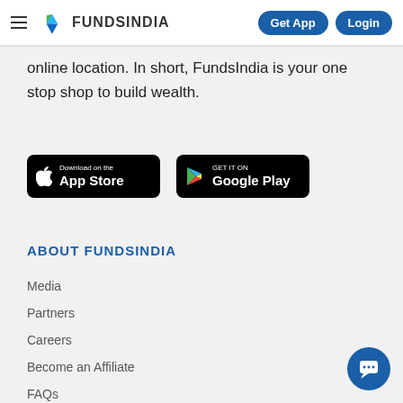FundsIndia — Get App | Login
online location. In short, FundsIndia is your one stop shop to build wealth.
[Figure (screenshot): Download on the App Store button (black rounded rectangle)]
[Figure (screenshot): Get it on Google Play button (black rounded rectangle)]
ABOUT FUNDSINDIA
Media
Partners
Careers
Become an Affiliate
FAQs
Reach us
Privacy